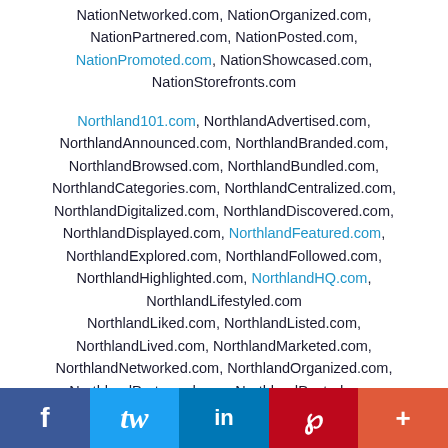NationNetworked.com, NationOrganized.com, NationPartnered.com, NationPosted.com, NationPromoted.com, NationShowcased.com, NationStorefronts.com
Northland101.com, NorthlandAdvertised.com, NorthlandAnnounced.com, NorthlandBranded.com, NorthlandBrowsed.com, NorthlandBundled.com, NorthlandCategories.com, NorthlandCentralized.com, NorthlandDigitalized.com, NorthlandDiscovered.com, NorthlandDisplayed.com, NorthlandFeatured.com, NorthlandExplored.com, NorthlandFollowed.com, NorthlandHighlighted.com, NorthlandHQ.com, NorthlandLifestyled.com NorthlandLiked.com, NorthlandListed.com, NorthlandLived.com, NorthlandMarketed.com, NorthlandNetworked.com, NorthlandOrganized.com, NorthlandPartnered.com, NorthlandPosted.com,
[Figure (infographic): Social media share bar with Facebook, Twitter, LinkedIn, Pinterest, and More (+) buttons]